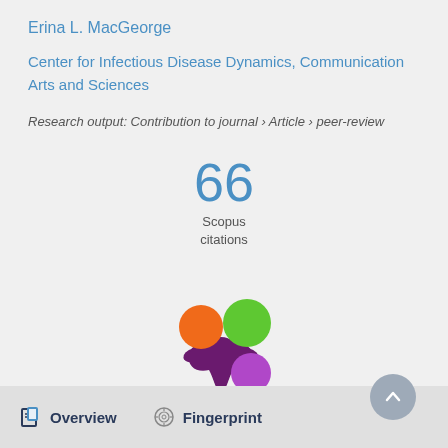Erina L. MacGeorge
Center for Infectious Disease Dynamics, Communication Arts and Sciences
Research output: Contribution to journal › Article › peer-review
[Figure (infographic): Scopus citations badge showing 66 citations]
[Figure (logo): Altmetric colorful flower/asterisk logo with orange, green, and purple circles]
Overview   Fingerprint